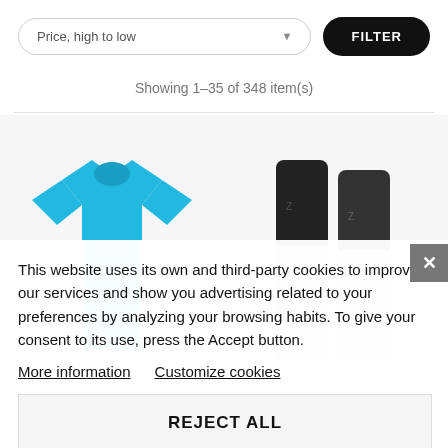Price, high to low
FILTER
Showing 1–35 of 348 item(s)
[Figure (photo): Two product images: a cyan/blue sports t-shirt on the left, and black/grey compression leg sleeves on the right, shown against a light grey background.]
This website uses its own and third-party cookies to improve our services and show you advertising related to your preferences by analyzing your browsing habits. To give your consent to its use, press the Accept button.
More information   Customize cookies
REJECT ALL
I ACCEPT